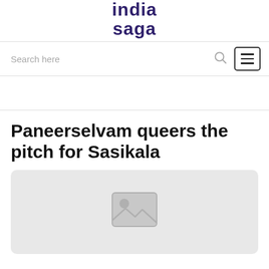india saga
Search here
Paneerselvam queers the pitch for Sasikala
[Figure (illustration): Image placeholder with generic photo icon on light grey background]